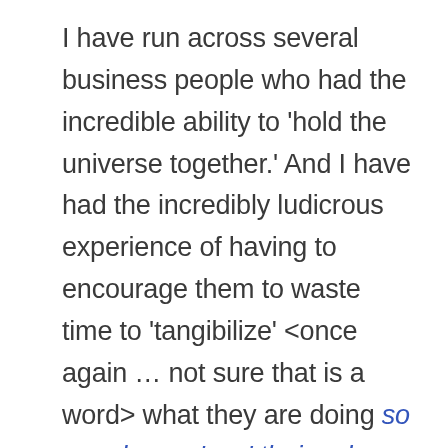I have run across several business people who had the incredible ability to 'hold the universe together.' And I have had the incredibly ludicrous experience of having to encourage them to waste time to 'tangibilize' <once again … not sure that is a word> what they are doing so people can 'see' their value. As a manager, or leader, I imagine one of your responsibilities is to protect these valuable unique people from the challenges of the typical business world view and foster their abilities and